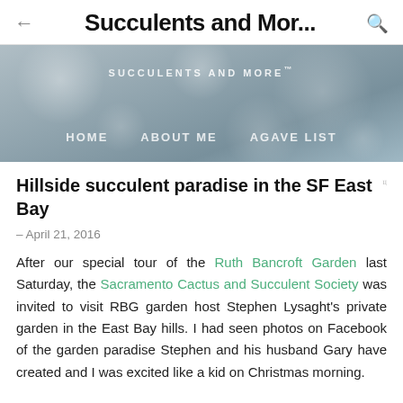← Succulents and Mor... 🔍
[Figure (photo): Website banner with bokeh/blur background in grey-blue tones. Shows 'SUCCULENTS AND MORE™' as site title and navigation links: HOME, ABOUT ME, AGAVE LIST.]
Hillside succulent paradise in the SF East Bay
April 21, 2016
After our special tour of the Ruth Bancroft Garden last Saturday, the Sacramento Cactus and Succulent Society was invited to visit RBG garden host Stephen Lysaght's private garden in the East Bay hills. I had seen photos on Facebook of the garden paradise Stephen and his husband Gary have created and I was excited like a kid on Christmas morning.